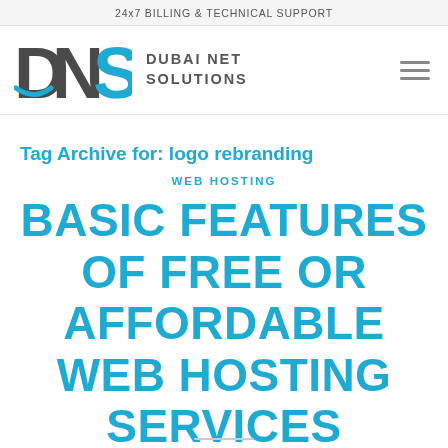24x7 BILLING & TECHNICAL SUPPORT
[Figure (logo): DNS Dubai Net Solutions logo with large bold DNS letters (S in blue) and text DUBAI NET SOLUTIONS, plus hamburger menu icon]
Tag Archive for: logo rebranding
WEB HOSTING
BASIC FEATURES OF FREE OR AFFORDABLE WEB HOSTING SERVICES